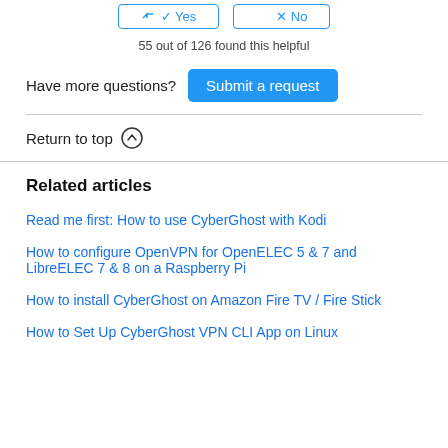55 out of 126 found this helpful
Have more questions? Submit a request
Return to top ↑
Related articles
Read me first: How to use CyberGhost with Kodi
How to configure OpenVPN for OpenELEC 5 & 7 and LibreELEC 7 & 8 on a Raspberry Pi
How to install CyberGhost on Amazon Fire TV / Fire Stick
How to Set Up CyberGhost VPN CLI App on Linux